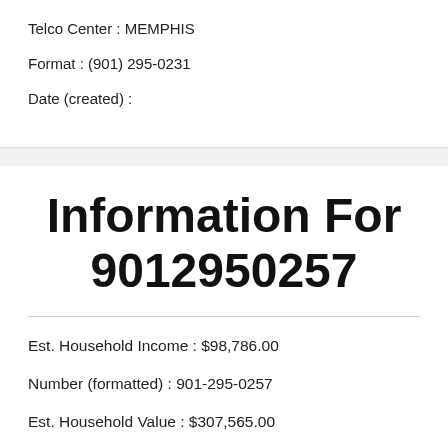Telco Center:  MEMPHIS
Format:  (901) 295-0231
Date (created):
Information For 9012950257
Est. Household Income:  $98,786.00
Number (formatted):  901-295-0257
Est. Household Value:  $307,565.00